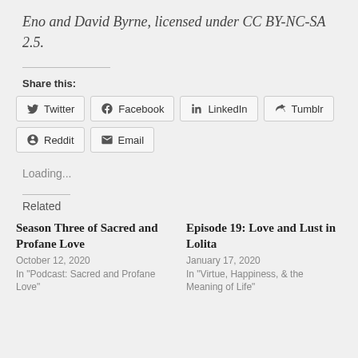Eno and David Byrne, licensed under CC BY-NC-SA 2.5.
Share this:
Twitter  Facebook  LinkedIn  Tumblr  Reddit  Email
Loading...
Related
Season Three of Sacred and Profane Love
October 12, 2020
In "Podcast: Sacred and Profane Love"
Episode 19: Love and Lust in Lolita
January 17, 2020
In "Virtue, Happiness, & the Meaning of Life"